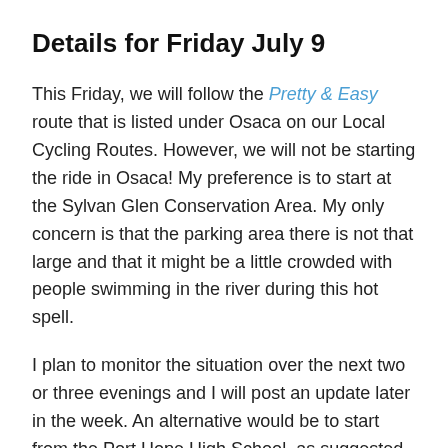Details for Friday July 9
This Friday, we will follow the Pretty & Easy route that is listed under Osaca on our Local Cycling Routes. However, we will not be starting the ride in Osaca! My preference is to start at the Sylvan Glen Conservation Area. My only concern is that the parking area there is not that large and that it might be a little crowded with people swimming in the river during this hot spell.
I plan to monitor the situation over the next two or three evenings and I will post an update later in the week. An alternative would be to start from the Port Hope High School, as suggested by the police officer last Friday. So, the route is fixed but be sure to check back on Thursday or Friday for a confirmation of the starting location! In any